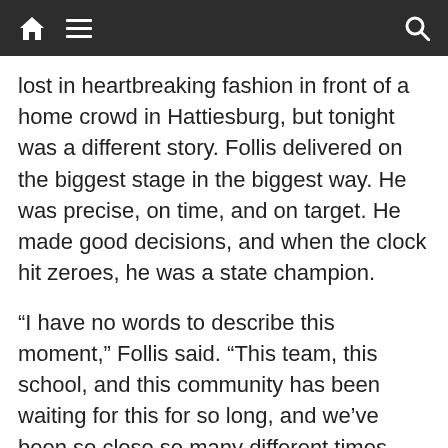Navigation bar with home, menu, and search icons
lost in heartbreaking fashion in front of a home crowd in Hattiesburg, but tonight was a different story. Follis delivered on the biggest stage in the biggest way. He was precise, on time, and on target. He made good decisions, and when the clock hit zeroes, he was a state champion.
“I have no words to describe this moment,” Follis said. “This team, this school, and this community has been waiting for this for so long, and we’ve been so close so many different times. For us to finally break through and do it is so awesome.”
For Follis, this was a story that he had already been a part of when these two teams met.